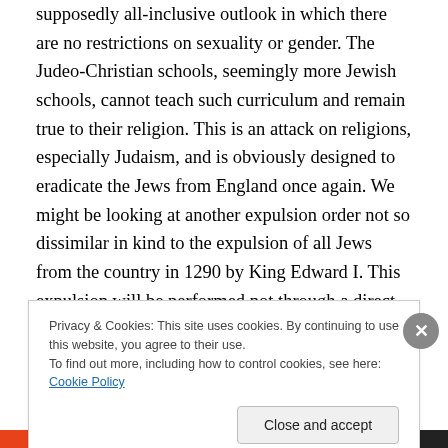supposedly all-inclusive outlook in which there are no restrictions on sexuality or gender. The Judeo-Christian schools, seemingly more Jewish schools, cannot teach such curriculum and remain true to their religion. This is an attack on religions, especially Judaism, and is obviously designed to eradicate the Jews from England once again. We might be looking at another expulsion order not so dissimilar in kind to the expulsion of all Jews from the country in 1290 by King Edward I. This expulsion will be performed not through a direct law but the result of demanding that the religious Jewish communities adopt a
Privacy & Cookies: This site uses cookies. By continuing to use this website, you agree to their use. To find out more, including how to control cookies, see here: Cookie Policy
Close and accept